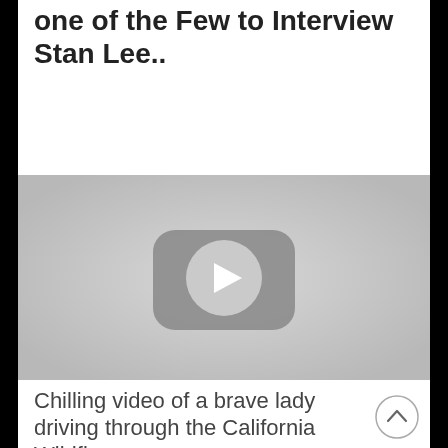The Electric Radio Show was one of the Few to Interview Stan Lee..
[Figure (screenshot): YouTube video thumbnail placeholder with gray background and a YouTube play button icon (rounded rectangle with play triangle) in the center]
Chilling video of a brave lady driving through the California Wildfires..